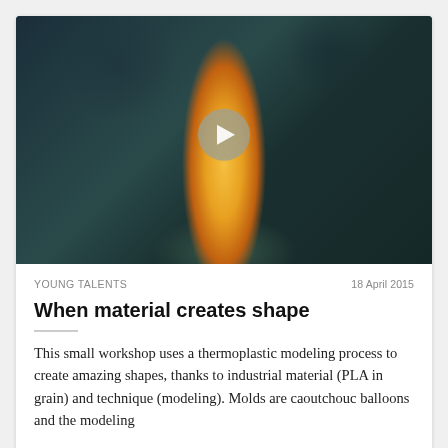[Figure (photo): A glowing lamp or thermoplastic object with a warm amber/orange light against a dark teal background, with a semi-transparent play button overlay in the center.]
YOUNG TALENTS
18 April 2015
When material creates shape
This small workshop uses a thermoplastic modeling process to create amazing shapes, thanks to industrial material (PLA in grain) and technique (modeling). Molds are caoutchouc balloons and the modeling